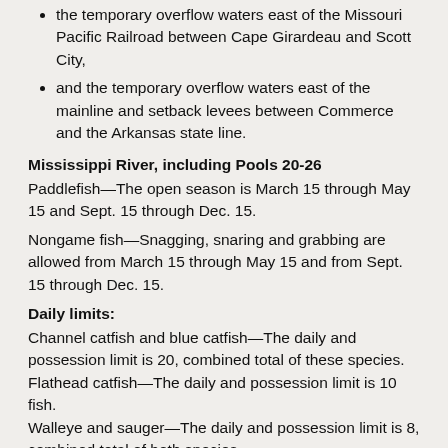the temporary overflow waters east of the Missouri Pacific Railroad between Cape Girardeau and Scott City,
and the temporary overflow waters east of the mainline and setback levees between Commerce and the Arkansas state line.
Mississippi River, including Pools 20-26
Paddlefish—The open season is March 15 through May 15 and Sept. 15 through Dec. 15.
Nongame fish—Snagging, snaring and grabbing are allowed from March 15 through May 15 and from Sept. 15 through Dec. 15.
Daily limits:
Channel catfish and blue catfish—The daily and possession limit is 20, combined total of these species. Flathead catfish—The daily and possession limit is 10 fish. Walleye and sauger—The daily and possession limit is 8, combined total of both species.
White bass, yellow bass, striped bass and their hybrids—